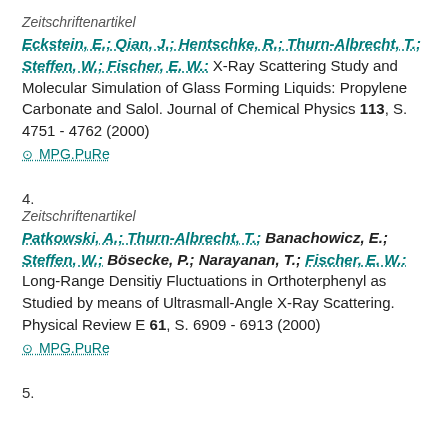Zeitschriftenartikel
Eckstein, E.; Qian, J.; Hentschke, R.; Thurn-Albrecht, T.; Steffen, W.; Fischer, E. W.: X-Ray Scattering Study and Molecular Simulation of Glass Forming Liquids: Propylene Carbonate and Salol. Journal of Chemical Physics 113, S. 4751 - 4762 (2000)
⊙ MPG.PuRe
4.
Zeitschriftenartikel
Patkowski, A.; Thurn-Albrecht, T.; Banachowicz, E.; Steffen, W.; Bösecke, P.; Narayanan, T.; Fischer, E. W.: Long-Range Densitiy Fluctuations in Orthoterphenyl as Studied by means of Ultrasmall-Angle X-Ray Scattering. Physical Review E 61, S. 6909 - 6913 (2000)
⊙ MPG.PuRe
5.